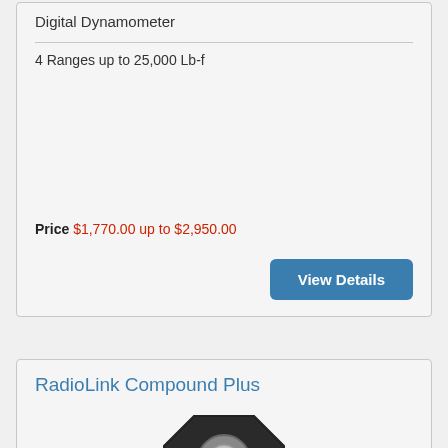Digital Dynamometer
4 Ranges up to 25,000 Lb-f
Price $1,770.00 up to $2,950.00
View Details
RadioLink Compound Plus
[Figure (photo): A black octagonal industrial load cell or coupling device with a circular silver hole/bore in the center, viewed from the front.]